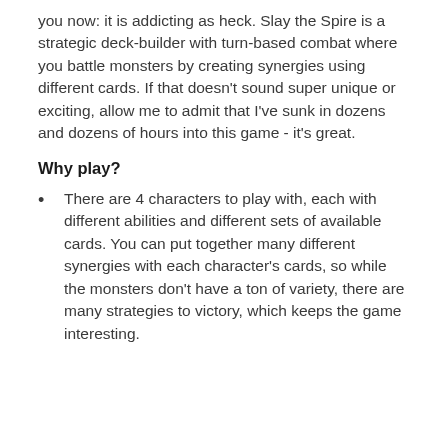you now: it is addicting as heck. Slay the Spire is a strategic deck-builder with turn-based combat where you battle monsters by creating synergies using different cards. If that doesn't sound super unique or exciting, allow me to admit that I've sunk in dozens and dozens of hours into this game - it's great.
Why play?
There are 4 characters to play with, each with different abilities and different sets of available cards. You can put together many different synergies with each character's cards, so while the monsters don't have a ton of variety, there are many strategies to victory, which keeps the game interesting.